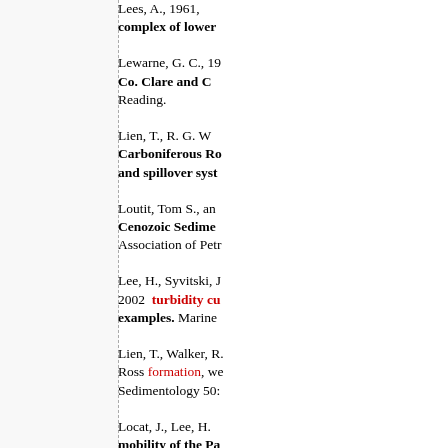Lees, A., 1961, [bold]complex of lower[/bold]
Lewarne, G. C., 19... [bold]Co. Clare and C[/bold] Reading.
Lien, T., R. G. W... [bold]Carboniferous Ro... and spillover syst...[/bold]
Loutit, Tom S., and... [bold]Cenozoic Sedime...[/bold] Association of Petr...
Lee, H., Syvitski, J... 2002 [red]turbidity cu...[/red] [bold]examples.[/bold] Marine...
Lien, T., Walker, R.... Ross [red]formation[/red], we... Sedimentology 50:...
Locat, J., Lee, H.... [bold]mobility of the Pa... for the generation...[/bold]